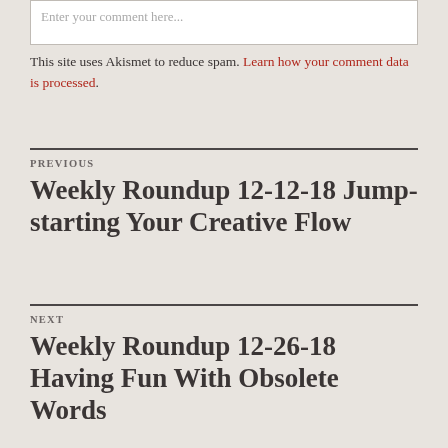Enter your comment here...
This site uses Akismet to reduce spam. Learn how your comment data is processed.
PREVIOUS
Weekly Roundup 12-12-18 Jump-starting Your Creative Flow
NEXT
Weekly Roundup 12-26-18 Having Fun With Obsolete Words